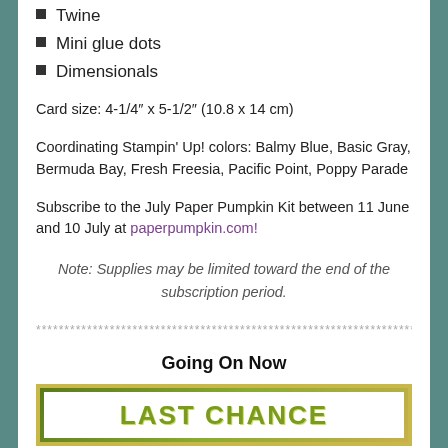Twine
Mini glue dots
Dimensionals
Card size: 4-1/4″ x 5-1/2″ (10.8 x 14 cm)
Coordinating Stampin' Up! colors: Balmy Blue, Basic Gray, Bermuda Bay, Fresh Freesia, Pacific Point, Poppy Parade
Subscribe to the July Paper Pumpkin Kit between 11 June and 10 July at paperpumpkin.com!
Note: Supplies may be limited toward the end of the subscription period.
******************************************************************************
Going On Now
[Figure (other): Last Chance promotional banner with green gradient border and white inner area with 'LAST CHANCE' text]